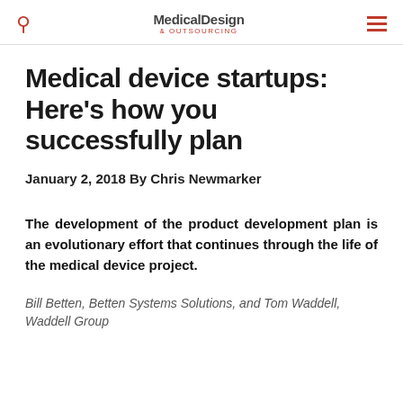Medical Design & Outsourcing
Medical device startups: Here’s how you successfully plan
January 2, 2018 By Chris Newmarker
The development of the product development plan is an evolutionary effort that continues through the life of the medical device project.
Bill Betten, Betten Systems Solutions, and Tom Waddell, Waddell Group